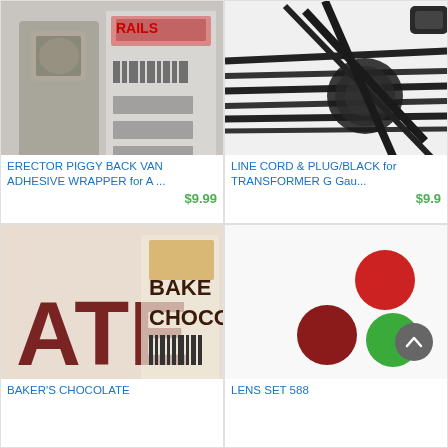[Figure (photo): Blurry photo of an Erector Piggy Back Van adhesive wrapper product]
ERECTOR PIGGY BACK VAN ADHESIVE WRAPPER for A ...
$9.99
[Figure (photo): Black cables/cords bundled together, line cord and plug product]
LINE CORD & PLUG/BLACK for TRANSFORMER G Gau...
$9.9
[Figure (photo): Baker's Chocolate product wrapper showing 'ATE' text and 'BAKER CHOCOL' text]
BAKER'S CHOCOLATE
[Figure (photo): Lens Set 588 product showing three colored circles: one red (top right), one dark red (bottom left), one green (bottom right)]
LENS SET 588